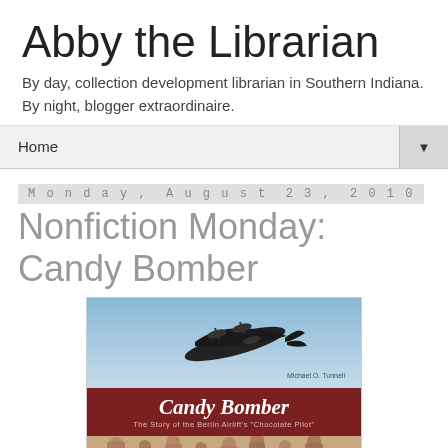Abby the Librarian
By day, collection development librarian in Southern Indiana.
By night, blogger extraordinaire.
Home
Monday, August 23, 2010
Nonfiction Monday: Candy Bomber
[Figure (photo): Book cover of 'Candy Bomber: The Story of the Berlin Airlift's Chocolate Pilot' by Michael O. Tunnell. Top portion shows a WWII-era bomber aircraft against a blue sky. Middle section shows dark red/brown band with the title 'Candy Bomber' in white italic script and subtitle text. Bottom portion shows a sepia-toned photograph of children.]